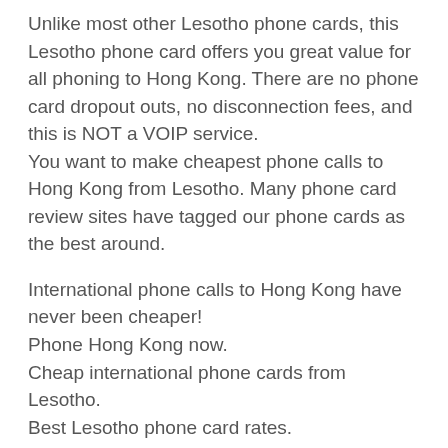Unlike most other Lesotho phone cards, this Lesotho phone card offers you great value for all phoning to Hong Kong. There are no phone card dropout outs, no disconnection fees, and this is NOT a VOIP service.
You want to make cheapest phone calls to Hong Kong from Lesotho. Many phone card review sites have tagged our phone cards as the best around.
International phone calls to Hong Kong have never been cheaper!
Phone Hong Kong now.
Cheap international phone cards from Lesotho.
Best Lesotho phone card rates.
Cheapest Lesotho tele-phone cards on the net!